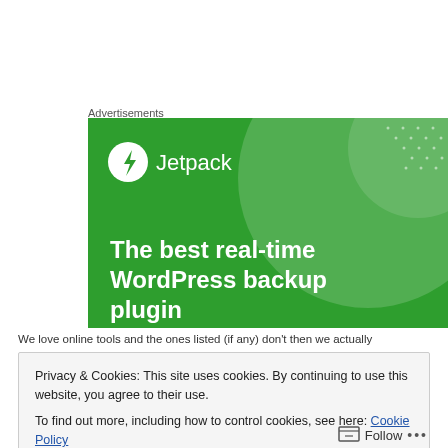Advertisements
[Figure (illustration): Jetpack advertisement banner on green background showing logo and text 'The best real-time WordPress backup plugin']
Privacy & Cookies: This site uses cookies. By continuing to use this website, you agree to their use.
To find out more, including how to control cookies, see here: Cookie Policy
Close and accept
Follow